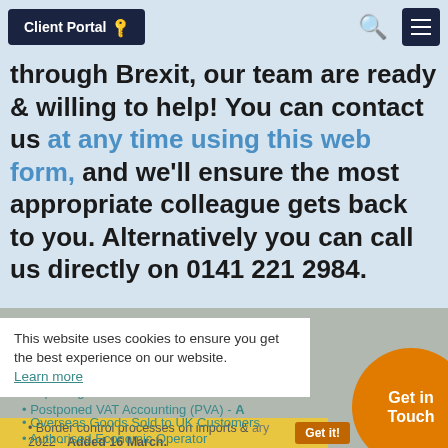Client Portal 🔑
through Brexit, our team are ready & willing to help! You can contact us at any time using this web form, and we'll ensure the most appropriate colleague gets back to you. Alternatively you can call us directly on 0141 221 2984.
Contents:
1. Importing & Exporting:
Selling Goods into the EU / Tariffs on Goods
Importing Goods into the UK
Postponed VAT Accounting (PVA) - A...
Border control processes on imports and exports from January 2022 - Added 16 March.
Overseas Goods Sold to UK Customers
Authorised Economic Operator
This website uses cookies to ensure you get the best experience on our website.
Learn more